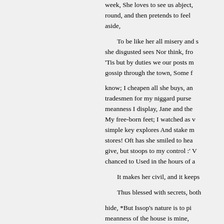week, She loves to see us abject, round, and then pretends to feel aside,
To be like her all misery and s she disgusted sees Nor think, fro 'Tis but by duties we our posts m gossip through the town, Some f
know; I cheapen all she buys, an tradesmen for my niggard purse meanness I display, Jane and the My free-born feet; I watched as simple key explores And stake m stores! Oft has she smiled to hea give, but stoops to my control :' chanced to Used in the hours of
It makes her civil, and it keeps
Thus blessed with secrets, both
hide, *But Issop's nature is to pi meanness of the house is mine,
nied. And my reward—to scorn giddy thing, with neither Bad a